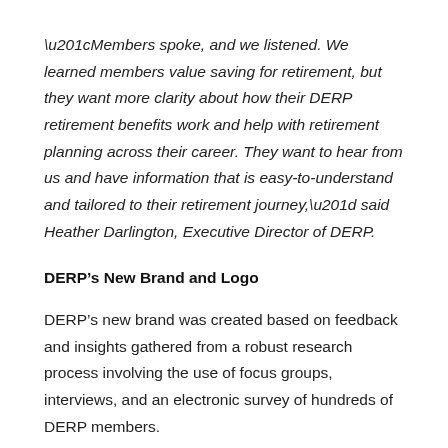“Members spoke, and we listened. We learned members value saving for retirement, but they want more clarity about how their DERP retirement benefits work and help with retirement planning across their career. They want to hear from us and have information that is easy-to-understand and tailored to their retirement journey,” said Heather Darlington, Executive Director of DERP.
DERP’s New Brand and Logo
DERP’s new brand was created based on feedback and insights gathered from a robust research process involving the use of focus groups, interviews, and an electronic survey of hundreds of DERP members.